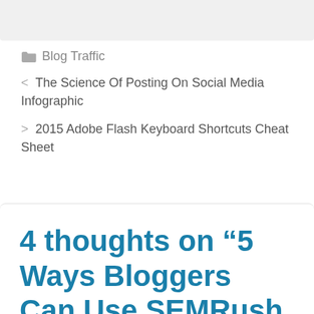Blog Traffic
< The Science Of Posting On Social Media Infographic
> 2015 Adobe Flash Keyboard Shortcuts Cheat Sheet
4 thoughts on “5 Ways Bloggers Can Use SEMRush for More